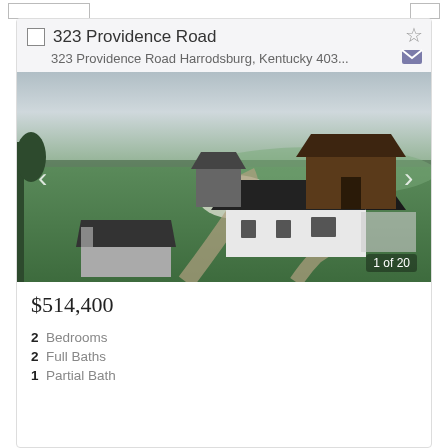323 Providence Road
323 Providence Road Harrodsburg, Kentucky 403...
[Figure (photo): Aerial drone photograph of a rural farm property showing a white house with dark roof, a carport/shed on the left, a large dark barn in the background, a pond, and green fields. A gravel/dirt driveway is visible. Overcast sky.]
$514,400
2 Bedrooms
2 Full Baths
1 Partial Bath